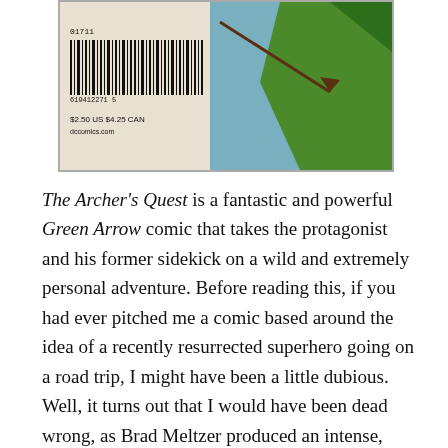[Figure (photo): Comic book cover or back cover showing barcode (01711, $2.50 US $4.25 CAN, dccomics.com) with partial illustration of Green Arrow character and blue/green background]
The Archer's Quest is a fantastic and powerful Green Arrow comic that takes the protagonist and his former sidekick on a wild and extremely personal adventure. Before reading this, if you had ever pitched me a comic based around the idea of a recently resurrected superhero going on a road trip, I might have been a little dubious.  Well, it turns out that I would have been dead wrong, as Brad Meltzer produced an intense, captivating and emotionally rich narrative that is not only extremely entertaining but which contains some excellent character work, some brilliant references to the classic Green Arrow comics, and which li...